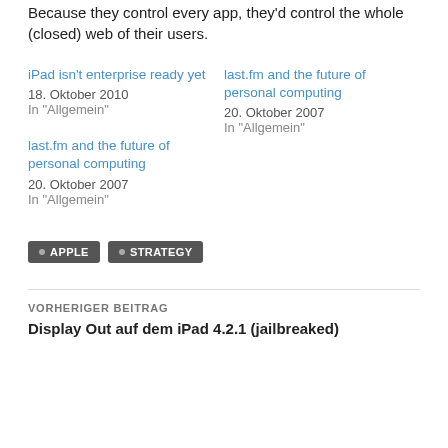Because they control every app, they'd control the whole (closed) web of their users.
iPad isn't enterprise ready yet
18. Oktober 2010
In "Allgemein"
last.fm and the future of personal computing
20. Oktober 2007
In "Allgemein"
last.fm and the future of personal computing
20. Oktober 2007
In "Allgemein"
• APPLE  • STRATEGY
VORHERIGER BEITRAG
Display Out auf dem iPad 4.2.1 (jailbreaked)